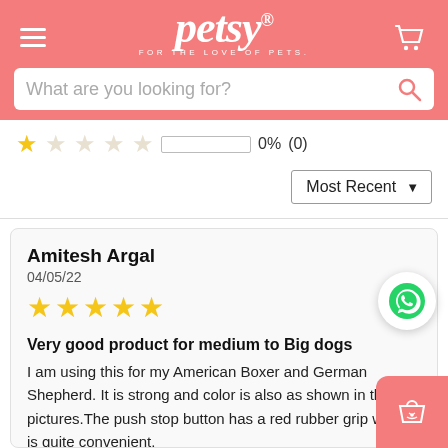petsy — FOR THE LOVE OF PETS.
What are you looking for?
1 star: 0% (0)
Most Recent
Amitesh Argal
04/05/22
★★★★★
Very good product for medium to Big dogs
I am using this for my American Boxer and German Shepherd. It is strong and color is also as shown in the pictures.The push stop button has a red rubber grip which is quite convenient.
overall i have been using this for over a month